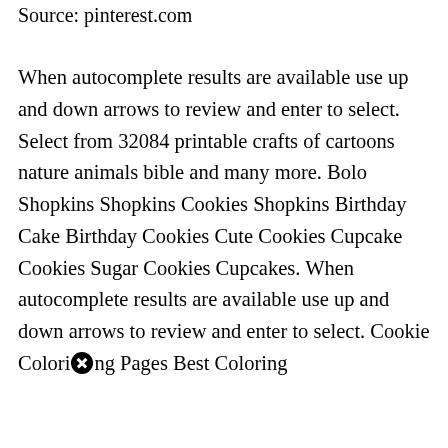Source: pinterest.com
When autocomplete results are available use up and down arrows to review and enter to select. Select from 32084 printable crafts of cartoons nature animals bible and many more. Bolo Shopkins Shopkins Cookies Shopkins Birthday Cake Birthday Cookies Cute Cookies Cupcake Cookies Sugar Cookies Cupcakes. When autocomplete results are available use up and down arrows to review and enter to select. Cookie Coloring Pages Best Coloring